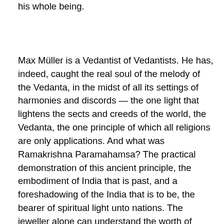his whole being.
Max Müller is a Vedantist of Vedantists. He has, indeed, caught the real soul of the melody of the Vedanta, in the midst of all its settings of harmonies and discords — the one light that lightens the sects and creeds of the world, the Vedanta, the one principle of which all religions are only applications. And what was Ramakrishna Paramahamsa? The practical demonstration of this ancient principle, the embodiment of India that is past, and a foreshadowing of the India that is to be, the bearer of spiritual light unto nations. The jeweller alone can understand the worth of jewels; this is an old proverb. Is it a wonder that this Western sage does study and